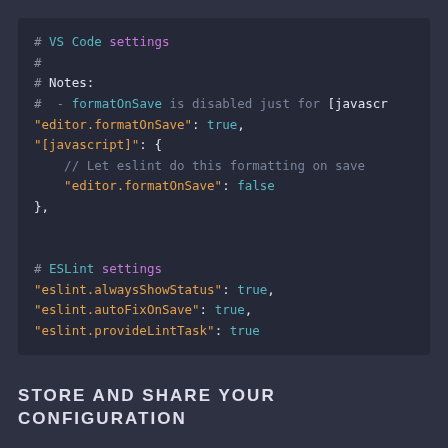[Figure (screenshot): Dark-themed code editor screenshot showing VS Code JSON settings with syntax highlighting. Shows commented header '# VS Code settings', formatOnSave configuration for javascript, then ESLint settings block with alwaysShowStatus, autoFixOnSave, and provideLintTask all set to true.]
STORE AND SHARE YOUR CONFIGURATION
Be sure to commit your new .eslintrc and